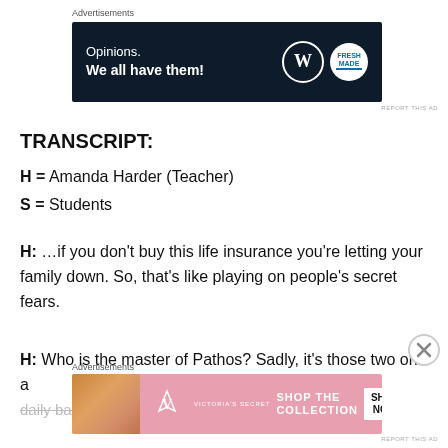[Figure (screenshot): Advertisements banner: dark navy background with 'Opinions. We all have them!' text and WordPress W logo plus a circular icon]
TRANSCRIPT:
H = Amanda Harder (Teacher)
S = Students
H: …if you don't buy this life insurance you're letting your family down. So, that's like playing on people's secret fears.
H: Who is the master of Pathos? Sadly, it's those two on a daily basis. Who — who in the news
[Figure (screenshot): Victoria's Secret advertisement banner with pink background, model photo, VS logo, 'SHOP THE COLLECTION' text and 'SHOP NOW' button]